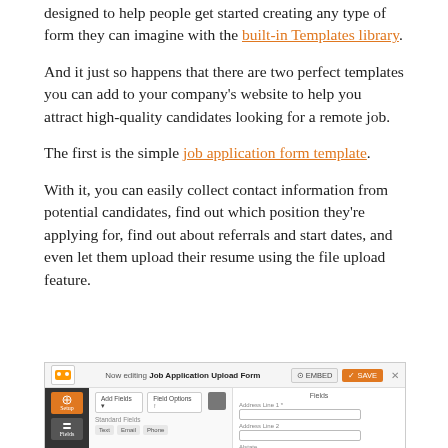designed to help people get started creating any type of form they can imagine with the built-in Templates library.
And it just so happens that there are two perfect templates you can add to your company’s website to help you attract high-quality candidates looking for a remote job.
The first is the simple job application form template.
With it, you can easily collect contact information from potential candidates, find out which position they’re applying for, find out about referrals and start dates, and even let them upload their resume using the file upload feature.
[Figure (screenshot): Screenshot of Job Application Upload Form editor interface showing sidebar with Setup and Fields icons, toolbar with Add Fields and Field Options buttons, a Fields panel on the right, and form fields including Address Line 1 and Address Line 2 inputs.]